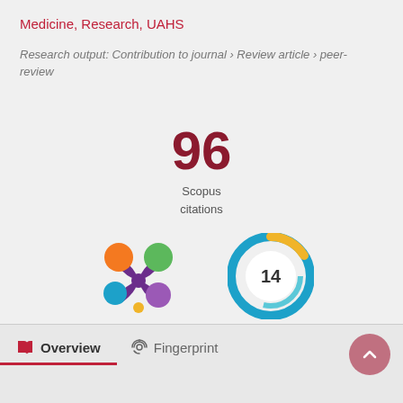Medicine, Research, UAHS
Research output: Contribution to journal › Review article › peer-review
[Figure (other): Scopus citations badge showing number 96]
[Figure (other): Altmetric flower logo badge]
[Figure (donut-chart): Circular badge showing number 14 with teal/yellow donut ring]
Overview
Fingerprint